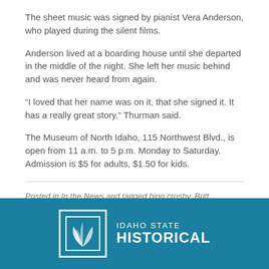The sheet music was signed by pianist Vera Anderson, who played during the silent films.
Anderson lived at a boarding house until she departed in the middle of the night. She left her music behind and was never heard from again.
“I loved that her name was on it, that she signed it. It has a really great story,” Thurman said.
The Museum of North Idaho, 115 Northwest Blvd., is open from 11 a.m. to 5 p.m. Monday to Saturday. Admission is $5 for adults, $1.50 for kids.
Posted in In the News and tagged bing crosby, Britt Thurman, dante’s peak, hollywood of the north, Lana Turner, museum of north idaho, Nell Shipman, patty duke
[Figure (logo): Idaho State Historical logo on teal/blue background with white square logo icon and white text reading IDAHO STATE HISTORICAL]